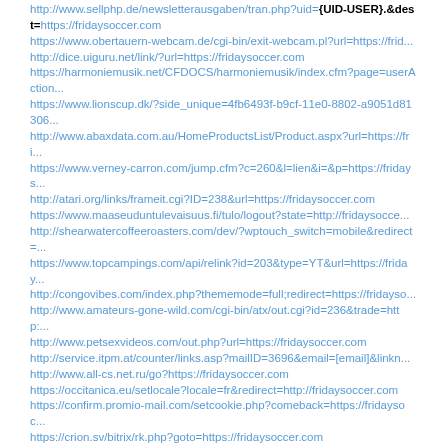http://www.sellphp.de/newsletterausgaben/tran.php?uid={UID-USER}.&dest=https://fridaysoccer.com
https://www.obertauern-webcam.de/cgi-bin/exit-webcam.pl?url=https://frid...
http://dice.uiguru.net/link/?url=https://fridaysoccer.com
https://harmoniemusik.net/CFDOCS/harmoniemusik/index.cfm?page=userAction...
https://www.lionscup.dk/?side_unique=4fb6493f-b9cf-11e0-8802-a9051d81306...
http://www.abaxdata.com.au/HomeProductsList/Product.aspx?url=https://fri...
https://www.verney-carron.com/jump.cfm?c=260&l=lien&i=&p=https://fridays...
http://atari.org/links/frameit.cgi?ID=238&url=https://fridaysoccer.com
https://www.maaseuduntulevaisuus.fi/tulo/logout?state=http://fridaysocce...
http://shearwatercoffeeroasters.com/dev/?wptouch_switch=mobile&redirect=...
https://www.topcampings.com/api/relink?id=203&type=YT&url=https://friday...
http://congovibes.com/index.php?thememode=full;redirect=https://fridayso...
http://www.amateurs-gone-wild.com/cgi-bin/atx/out.cgi?id=236&trade=http:...
http://www.petsexvideos.com/out.php?url=https://fridaysoccer.com
http://service.itpm.at/counter/links.asp?mailID=3696&email=[email]&linkn...
http://www.all-cs.net.ru/go?https://fridaysoccer.com
https://occitanica.eu/setlocale?locale=fr&redirect=http://fridaysoccer.com
https://confirm.promio-mail.com/setcookie.php?comeback=https://fridaysoc...
https://crion.sv/bitrix/rk.php?goto=https://fridaysoccer.com